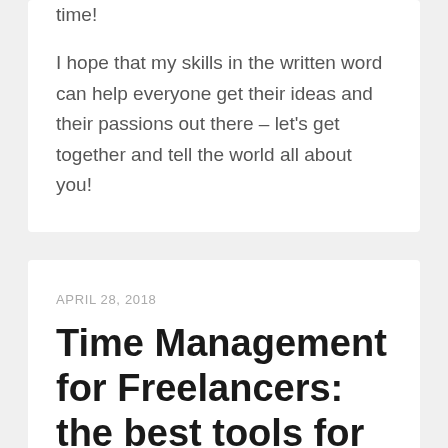time!

I hope that my skills in the written word can help everyone get their ideas and their passions out there – let's get together and tell the world all about you!
APRIL 28, 2018
Time Management for Freelancers: the best tools for the switch to freelancing